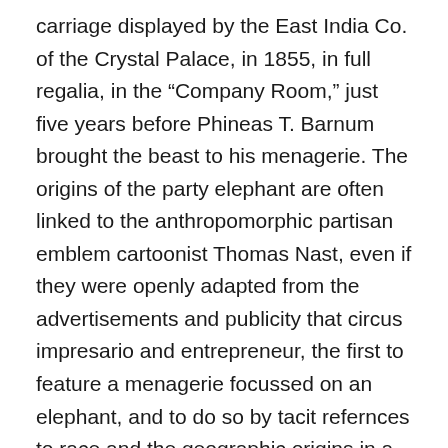carriage displayed by the East India Co. of the Crystal Palace, in 1855, in full regalia, in the “Company Room,” just five years before Phineas T. Barnum brought the beast to his menagerie. The origins of the party elephant are often linked to the anthropomorphic partisan emblem cartoonist Thomas Nast, even if they were openly adapted from the advertisements and publicity that circus impresario and entrepreneur, the first to feature a menagerie focussed on an elephant, and to do so by tacit refernces to race and the geographic origins in a distinctly American vein: the first Bush Elephant he displayed, Jumbo, captured in Sudan by a game hunter in 1860, would move from the Jardin des Plantes to Barnum’s circus twenty-six years later, displayed from 1882 in New York’s Madison Square Garden, drawing such sizable crowds two weeks’ ticket sales recuperated costs of